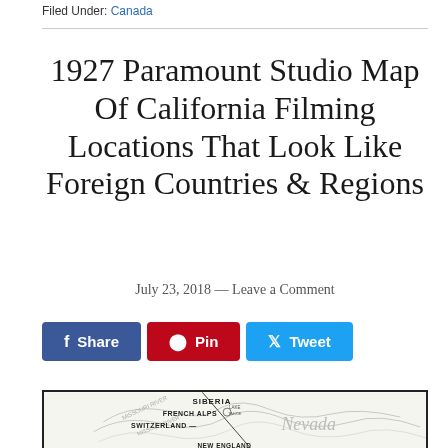Filed Under: Canada
1927 Paramount Studio Map Of California Filming Locations That Look Like Foreign Countries & Regions
July 23, 2018 — Leave a Comment
[Figure (other): Social share buttons: Share (Facebook, blue), Pin (Pinterest, red), Tweet (Twitter, light blue)]
[Figure (map): Partial view of a 1927 Paramount Studio map of California filming locations. Visible labels include SIBERIA, FRENCH ALPS, SWITZERLAND, and Nevada in cursive. Topographic lines and river references visible.]